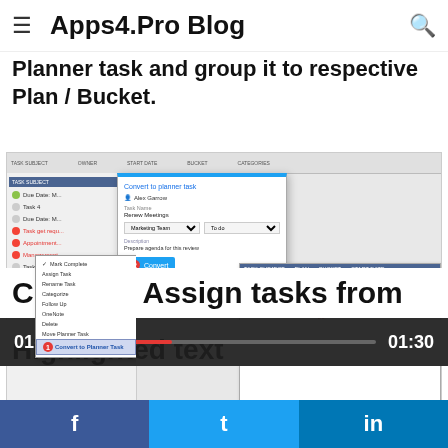Apps4.Pro Blog
Convert your existing Outlook tasks in to
Planner task and group it to respective Plan / Bucket.
[Figure (screenshot): Screenshot of Outlook task context menu showing 'Convert to Planner Task' option (step 1) and a 'Convert to planner task' dialog box with Marketing Team plan, 'To do' bucket, description field, and Convert button (step 2), plus a resulting Planner task list panel on the right.]
Create & Assign tasks from
[Figure (screenshot): Video player bar showing time 01:30 on left, progress bar with red fill, and 01:30 on right]
Highlighted text
f  t  in (Facebook, Twitter, LinkedIn share buttons)